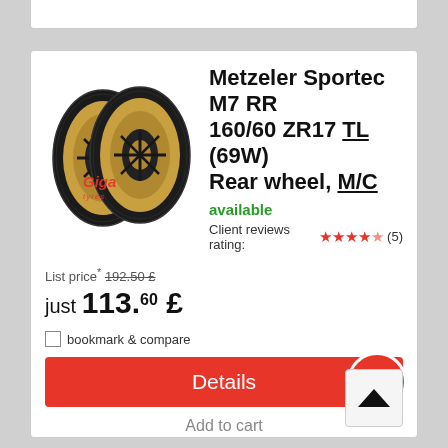[Figure (photo): Two Metzeler motorcycle tyres with gold rims, displayed overlapping, with a red 'Giga Tyres' watermark logo.]
Metzeler Sportec M7 RR 160/60 ZR17 TL (69W) Rear wheel, M/C
available
Client reviews rating: ★★★★½ (5)
List price* 192.50 £
just 113.60 £
bookmark & compare
Details
Add to cart